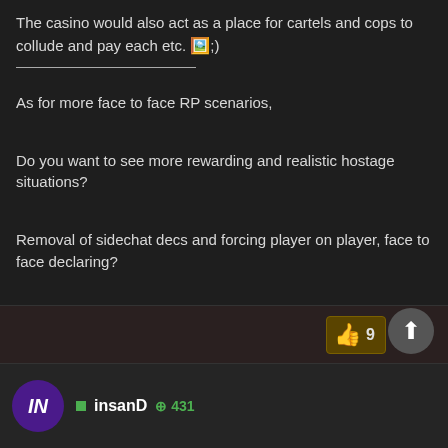The casino would also act as a place for cartels and cops to collude and pay each etc. 😉
As for more face to face RP scenarios,
Do you want to see more rewarding and realistic hostage situations?
Removal of sidechat decs and forcing player on player, face to face declaring?
👍 9
insanD  🟢 431